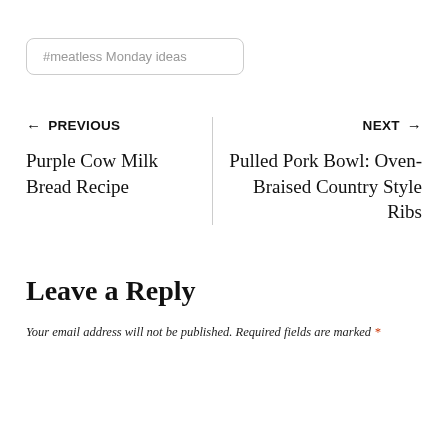#meatless Monday ideas
← PREVIOUS
Purple Cow Milk Bread Recipe
NEXT →
Pulled Pork Bowl: Oven-Braised Country Style Ribs
Leave a Reply
Your email address will not be published. Required fields are marked *